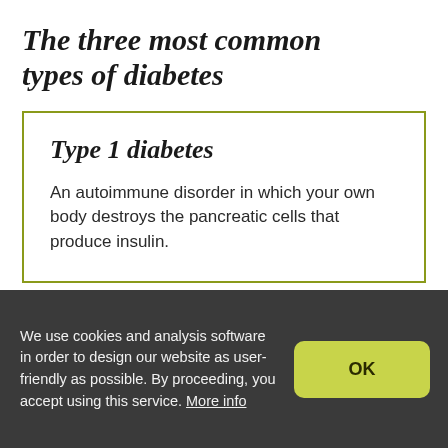The three most common types of diabetes
Type 1 diabetes
An autoimmune disorder in which your own body destroys the pancreatic cells that produce insulin.
We use cookies and analysis software in order to design our website as user-friendly as possible. By proceeding, you accept using this service. More info